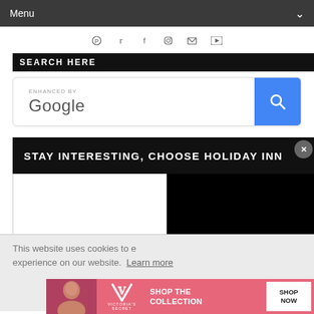Menu
[Figure (screenshot): Social media icons row: Pinterest, Twitter, Facebook, Instagram, Email, YouTube]
[Figure (screenshot): Partial black search bar header with text SEARCH HERE]
[Figure (screenshot): Google enhanced search box with search button]
[Figure (screenshot): Holiday Inn advertisement banner: STAY INTERESTING, CHOOSE HOLIDAY INN with black video panel]
This website uses cookies to ensure you get the best experience on our website. Learn more
[Figure (screenshot): Got it! button (blue) and CLOSE button (grey)]
[Figure (screenshot): Victoria's Secret advertisement: SHOP THE COLLECTION with SHOP NOW button]